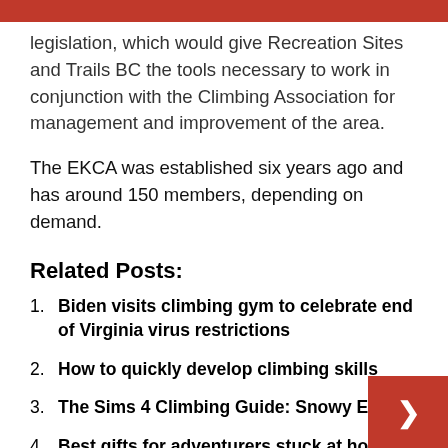legislation, which would give Recreation Sites and Trails BC the tools necessary to work in conjunction with the Climbing Association for management and improvement of the area.
The EKCA was established six years ago and has around 150 members, depending on demand.
Related Posts:
Biden visits climbing gym to celebrate end of Virginia virus restrictions
How to quickly develop climbing skills
The Sims 4 Climbing Guide: Snowy Escape
Best gifts for adventurers stuck at home: climbing mug